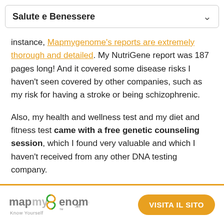Salute e Benessere
instance, Mapmygenome's reports are extremely thorough and detailed. My NutriGene report was 187 pages long! And it covered some disease risks I haven't seen covered by other companies, such as my risk for having a stroke or being schizophrenic.
Also, my health and wellness test and my diet and fitness test came with a free genetic counseling session, which I found very valuable and which I haven't received from any other DNA testing company.
On the other hand, there are some distinct
[Figure (logo): Mapmygenome logo with tagline 'Know Yourself' and orange 'VISITA IL SITO' button]